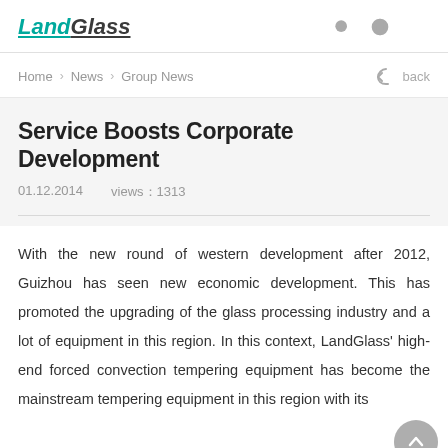LandGlass
Home > News > Group News   back
Service Boosts Corporate Development
01.12.2014   views：1313
With the new round of western development after 2012, Guizhou has seen new economic development. This has promoted the upgrading of the glass processing industry and a lot of equipment in this region. In this context, LandGlass' high-end forced convection tempering equipment has become the mainstream tempering equipment in this region with its